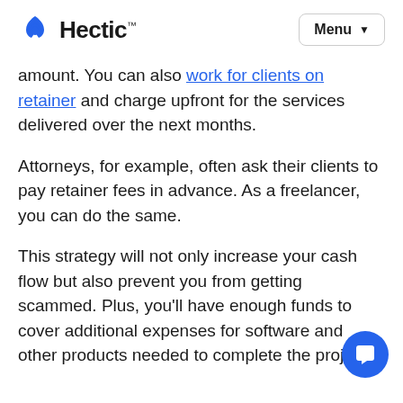Hectic™ | Menu
amount. You can also work for clients on retainer and charge upfront for the services delivered over the next months.
Attorneys, for example, often ask their clients to pay retainer fees in advance. As a freelancer, you can do the same.
This strategy will not only increase your cash flow but also prevent you from getting scammed. Plus, you'll have enough funds to cover additional expenses for software and other products needed to complete the project.